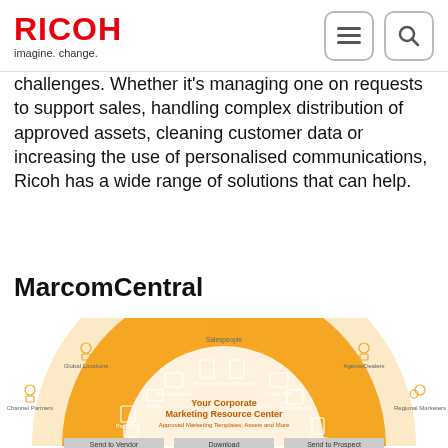RICOH imagine. change.
challenges. Whether it's managing one on requests to support sales, handling complex distribution of approved assets, cleaning customer data or increasing the use of personalised communications, Ricoh has a wide range of solutions that can help.
MarcomCentral
[Figure (infographic): MarcomCentral semicircular diagram showing 'Your Corporate Marketing Resource Center - Approved Marketing Templates, Assets and More' in the center, surrounded by content types (Presentations, Brochures, Advertisements, Direct Mail, Social Media, Emails, Proposals, Digital Assets, Signage) and user types around the outside (Salespeople, Agents/Dealers, Regional Marketers, Channel Partners, Global Locations). Bottom shows three action buttons: Send to Vendor, Download, Send to Prospect.]